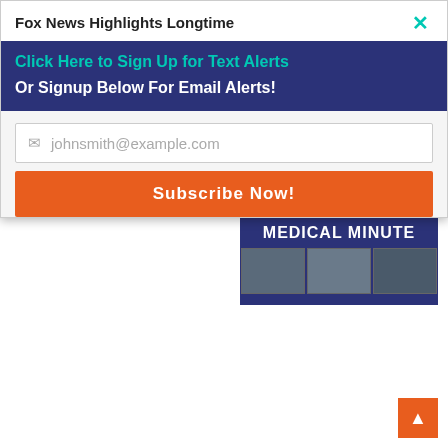Fox News Highlights Longtime
Click Here to Sign Up for Text Alerts
Or Signup Below For Email Alerts!
johnsmith@example.com
Subscribe Now!
[Figure (photo): Article thumbnail showing Qualified. Caring. Committed. text over a dark background image]
WATCH: Judge Jessica Recksiedler Seeks Re-Election for 18th Judicial Circuit Ahead of August 23 Primary Election
[Figure (illustration): Health First Medical Minute advertisement banner with blue background showing Health First logo, Medical Minute text, and thumbnails of doctors]